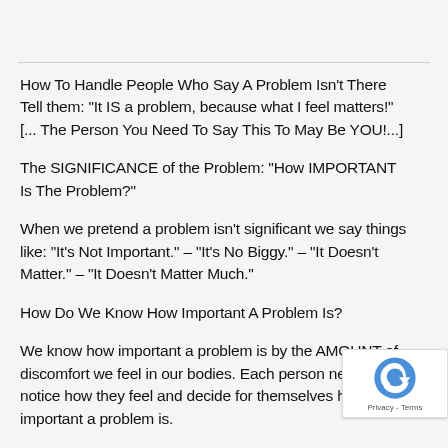How To Handle People Who Say A Problem Isn't There Tell them: "It IS a problem, because what I feel matters!" [... The Person You Need To Say This To May Be YOU!...]
The SIGNIFICANCE of the Problem: "How IMPORTANT Is The Problem?"
When we pretend a problem isn't significant we say things like: "It's Not Important." – "It's No Biggy." – "It Doesn't Matter." – "It Doesn't Matter Much."
How Do We Know How Important A Problem Is?
We know how important a problem is by the AMOUNT of discomfort we feel in our bodies. Each person need notice how they feel and decide for themselves ho important a problem is.